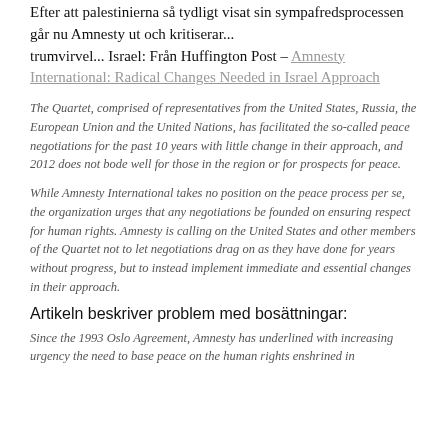Efter att palestinierna så tydligt visat sin sympati fredsprocessen går nu Amnesty ut och kritiserar... trumvirvel... Israel: Från Huffington Post – Amnesty International: Radical Changes Needed in Israel Approach
The Quartet, comprised of representatives from the United States, Russia, the European Union and the United Nations, has facilitated the so-called peace negotiations for the past 10 years with little change in their approach, and 2012 does not bode well for those in the region or for prospects for peace.
While Amnesty International takes no position on the peace process per se, the organization urges that any negotiations be founded on ensuring respect for human rights. Amnesty is calling on the United States and other members of the Quartet not to let negotiations drag on as they have done for years without progress, but to instead implement immediate and essential changes in their approach.
Artikeln beskriver problem med bosättningar:
Since the 1993 Oslo Agreement, Amnesty has underlined with increasing urgency the need to base peace on the human rights enshrined in